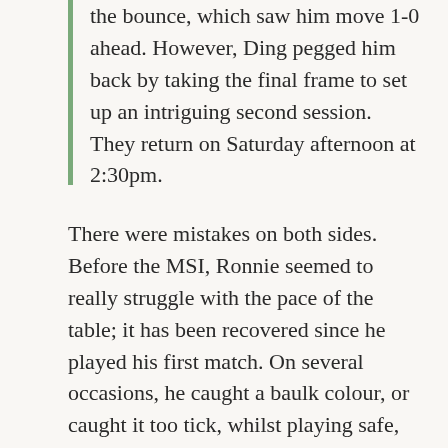the bounce, which saw him move 1-0 ahead. However, Ding pegged him back by taking the final frame to set up an intriguing second session. They return on Saturday afternoon at 2:30pm.
There were mistakes on both sides. Before the MSI, Ronnie seemed to really struggle with the pace of the table; it has been recovered since he played his first match. On several occasions, he caught a baulk colour, or caught it too tick, whilst playing safe, and he misjudged the length of a few shots, which is quite unusual for him. Ding seemed to adapt better. One worry is that twice Ronnie missed a straight shot, cueing